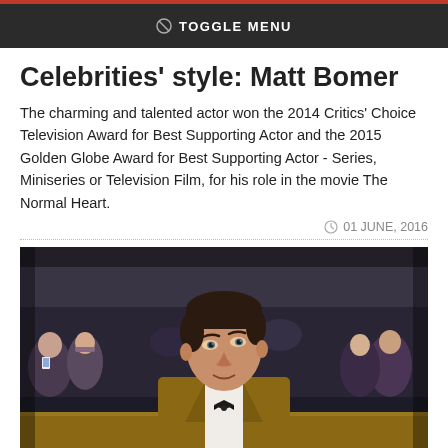TOGGLE MENU
Celebrities' style: Matt Bomer
The charming and talented actor won the 2014 Critics' Choice Television Award for Best Supporting Actor and the 2015 Golden Globe Award for Best Supporting Actor - Series, Miniseries or Television Film, for his role in the movie The Normal Heart.
01 JUNE, 2016
[Figure (photo): A man in a tan/brown tuxedo jacket with black bow tie at a red carpet event, surrounded by a crowd of people in the background]